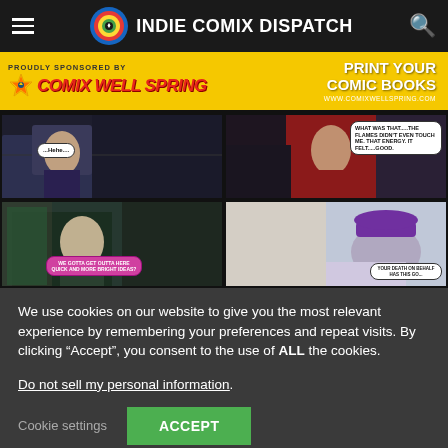INDIE COMIX DISPATCH
[Figure (illustration): Sponsor banner: PROUDLY SPONSORED BY COMIX WELL SPRING — PRINT YOUR COMIC BOOKS — www.comixwellspring.com]
[Figure (illustration): Four comic book panels showing superhero action scenes with speech bubbles]
We use cookies on our website to give you the most relevant experience by remembering your preferences and repeat visits. By clicking “Accept”, you consent to the use of ALL the cookies.
Do not sell my personal information.
Cookie settings  ACCEPT